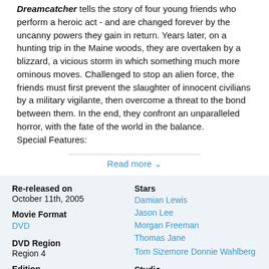Dreamcatcher tells the story of four young friends who perform a heroic act - and are changed forever by the uncanny powers they gain in return. Years later, on a hunting trip in the Maine woods, they are overtaken by a blizzard, a vicious storm in which something much more ominous moves. Challenged to stop an alien force, the friends must first prevent the slaughter of innocent civilians by a military vigilante, then overcome a threat to the bond between them. In the end, they confront an unparalleled horror, with the fate of the world in the balance.
Special Features:
Read more
| Re-released on | Stars |
| October 11th, 2005 | Damian Lewis
Jason Lee
Morgan Freeman
Thomas Jane
Tom Sizemore Donnie Wahlberg |
| Movie Format |  |
| DVD |  |
| DVD Region | Studio |
| Region 4 | Roadshow |
| Edition | Supported Audio |
| Standard Edition |  |